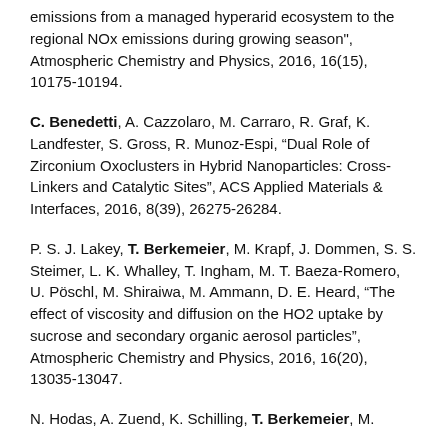emissions from a managed hyperarid ecosystem to the regional NOx emissions during growing season", Atmospheric Chemistry and Physics, 2016, 16(15), 10175-10194.
C. Benedetti, A. Cazzolaro, M. Carraro, R. Graf, K. Landfester, S. Gross, R. Munoz-Espi, “Dual Role of Zirconium Oxoclusters in Hybrid Nanoparticles: Cross-Linkers and Catalytic Sites”, ACS Applied Materials & Interfaces, 2016, 8(39), 26275-26284.
P. S. J. Lakey, T. Berkemeier, M. Krapf, J. Dommen, S. S. Steimer, L. K. Whalley, T. Ingham, M. T. Baeza-Romero, U. Pöschl, M. Shiraiwa, M. Ammann, D. E. Heard, “The effect of viscosity and diffusion on the HO2 uptake by sucrose and secondary organic aerosol particles”, Atmospheric Chemistry and Physics, 2016, 16(20), 13035-13047.
N. Hodas, A. Zuend, K. Schilling, T. Berkemeier, M.